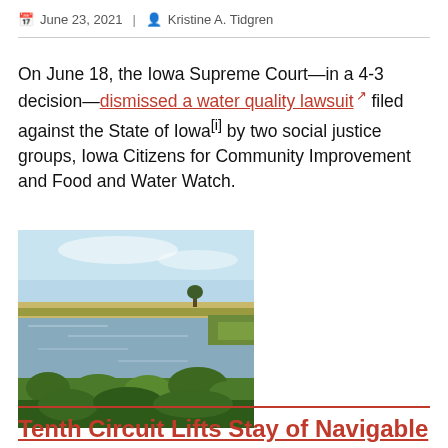June 23, 2021 | Kristine A. Tidgren
On June 18, the Iowa Supreme Court—in a 4-3 decision—dismissed a water quality lawsuit filed against the State of Iowa[i] by two social justice groups, Iowa Citizens for Community Improvement and Food and Water Watch.
[Figure (photo): Photograph of a wetland or pond with green marsh vegetation in the foreground, calm water in the middle, and a flat agricultural landscape with crops and blue sky in the background.]
Tenth Circuit Lifts Stay of Navigable